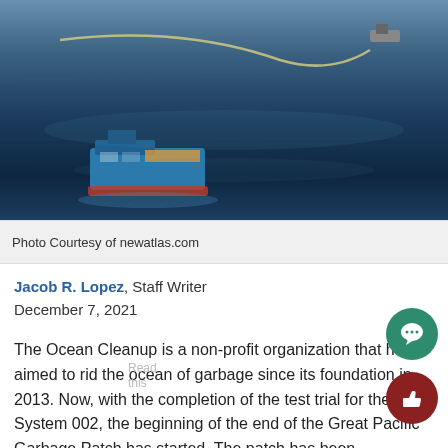[Figure (photo): Aerial view of a blue ocean cleanup ship with a curved rope/boom system visible in the ocean, with a smaller vessel in the upper right]
Photo Courtesy of newatlas.com
Jacob R. Lopez, Staff Writer
December 7, 2021
The Ocean Cleanup is a non-profit organization that has aimed to rid the ocean of garbage since its foundation in 2013. Now, with the completion of the test trial for their System 002, the beginning of the end of the Great Pacific Garbage Patch has started. The patch has been estimated to be about 1.6 million square kilo meters which is roughly three times the size of France. 20,000